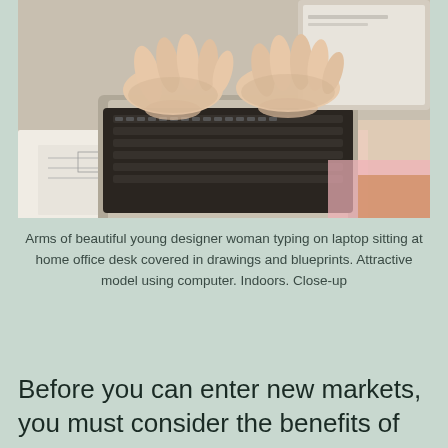[Figure (photo): Close-up photo of hands of a young woman typing on a laptop keyboard, with drawings, blueprints, and colorful papers visible on the desk beneath.]
Arms of beautiful young designer woman typing on laptop sitting at home office desk covered in drawings and blueprints. Attractive model using computer. Indoors. Close-up
Before you can enter new markets, you must consider the benefits of localization. In the